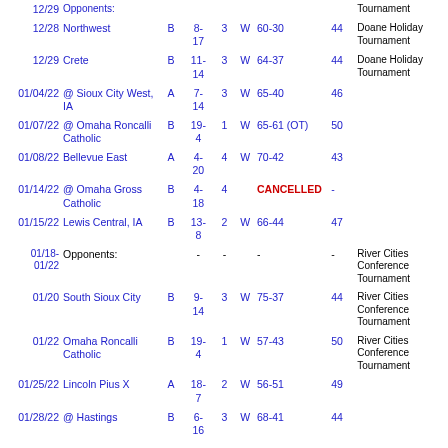| Date | Opponent | Cls | Record | Gm | W/L | Score | Pts | Tournament |
| --- | --- | --- | --- | --- | --- | --- | --- | --- |
| 12/29 |  |  |  |  |  |  |  | Tournament |
| 12/28 | Northwest | B | 8-17 | 3 | W | 60-30 | 44 | Doane Holiday Tournament |
| 12/29 | Crete | B | 11-14 | 3 | W | 64-37 | 44 | Doane Holiday Tournament |
| 01/04/22 | @ Sioux City West, IA | A | 7-14 | 3 | W | 65-40 | 46 |  |
| 01/07/22 | @ Omaha Roncalli Catholic | B | 19-4 | 1 | W | 65-61 (OT) | 50 |  |
| 01/08/22 | Bellevue East | A | 4-20 | 4 | W | 70-42 | 43 |  |
| 01/14/22 | @ Omaha Gross Catholic | B | 4-18 | 4 |  | CANCELLED | - |  |
| 01/15/22 | Lewis Central, IA | B | 13-8 | 2 | W | 66-44 | 47 |  |
| 01/18-01/22 | Opponents: | - | - | - | - | - | - | River Cities Conference Tournament |
| 01/20 | South Sioux City | B | 9-14 | 3 | W | 75-37 | 44 | River Cities Conference Tournament |
| 01/22 | Omaha Roncalli Catholic | B | 19-4 | 1 | W | 57-43 | 50 | River Cities Conference Tournament |
| 01/25/22 | Lincoln Pius X | A | 18-7 | 2 | W | 56-51 | 49 |  |
| 01/28/22 | @ Hastings | B | 6-16 | 3 | W | 68-41 | 44 |  |